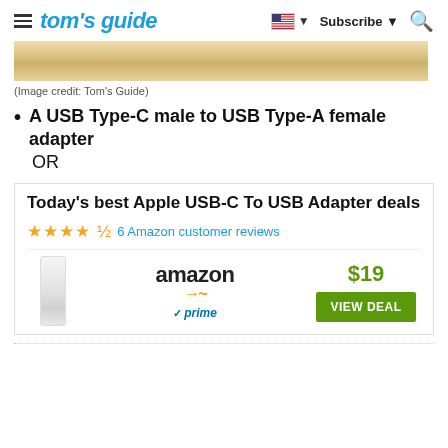tom's guide — Subscribe — Search
[Figure (photo): Close-up photo of a light-colored wood plank surface]
(Image credit: Tom's Guide)
A USB Type-C male to USB Type-A female adapter
OR
Today's best Apple USB-C To USB Adapter deals
★★★★½ 6 Amazon customer reviews
[Figure (other): Amazon product listing for Apple USB-C to USB Adapter priced at $19 with VIEW DEAL button and Amazon Prime badge]